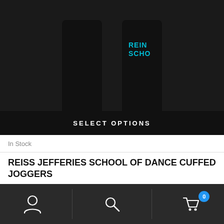[Figure (photo): Black cuffed jogger sweatpants with cyan/blue text 'REISS SCHO' printed on the upper thigh area, shown from waist to ankle on a white background within a dark product image frame]
SELECT OPTIONS
In Stock
REISS JEFFERIES SCHOOL OF DANCE CUFFED JOGGERS
[Figure (infographic): Bottom navigation bar with three icons: account/person icon on left, search/magnifying glass icon in center, and shopping cart icon with blue badge showing '0' on the right, separated by vertical dividers on dark background]